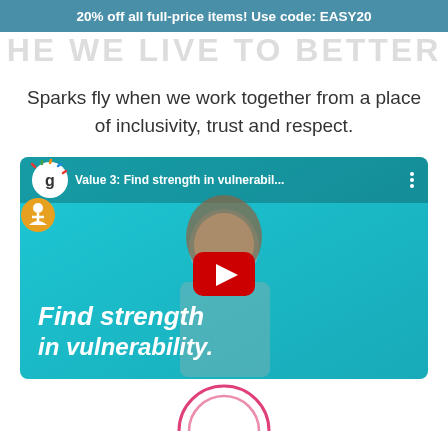20% off all full-price items! Use code: EASY20
...WE LIVE TO BETTER...
Sparks fly when we work together from a place of inclusivity, trust and respect.
[Figure (screenshot): YouTube video embed showing a woman in front of a teal background with text overlay reading 'Find strength in vulnerability.' and video title 'Value 3: Find strength in vulnerabil...']
[Figure (illustration): Partial arc/circle logo at the bottom of the page in pink/magenta color]